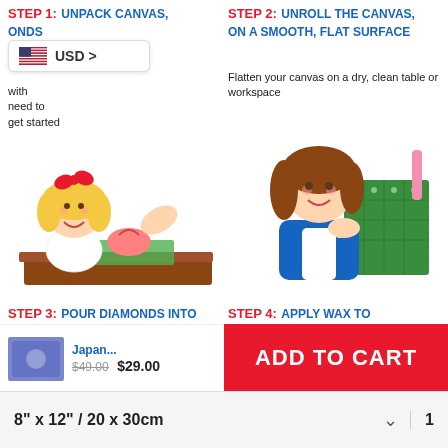STEP 1: UNPACK CANVAS, [DIAMONDS]
...with [all you] need to get started
[Figure (illustration): Cartoon girl with blonde hair and red bow unpacking canvas on a brown table]
STEP 2: UNROLL THE CANVAS, ON A SMOOTH, FLAT SURFACE
Flatten your canvas on a dry, clean table or workspace
[Figure (illustration): Cartoon woman with brown hair holding diamond pen over a green diamond painting canvas]
STEP 3: POUR DIAMONDS INTO GROOVED TRAY
Pour diamonds into tray and shake lightly so diamonds fall into grooves
[Figure (illustration): Cartoon girl with red bow using a pen on a diamond painting canvas]
STEP 4: APPLY WAX TO DIAMOND PEN
Apply a tiny bit of wax to the tip of the Diamond Pen. Pick up a diamond.
[Figure (illustration): Cartoon girl and woman working on diamond painting together]
Japan... $49.00 $29.00
ADD TO CART
8" x 12" / 20 x 30cm
1